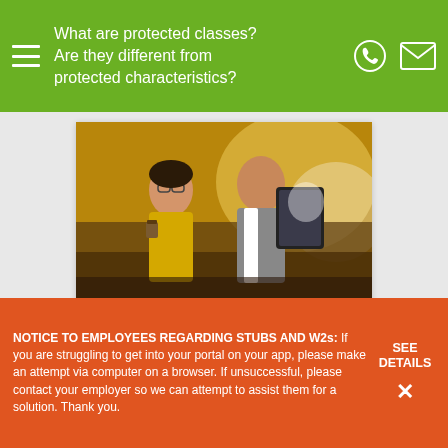What are protected classes? Are they different from protected characteristics?
[Figure (photo): Two professionals, a woman in a yellow dress and a man in a gray vest, looking at a tablet together in an office setting]
August 18, 2022
5 Ways To Drive High Engagement In A Millennial Workforce
NOTICE TO EMPLOYEES REGARDING STUBS AND W2s: If you are struggling to get into your portal on your app, please make an attempt via computer on a browser. If unsuccessful, please contact your employer so we can attempt to assist them for a solution. Thank you.